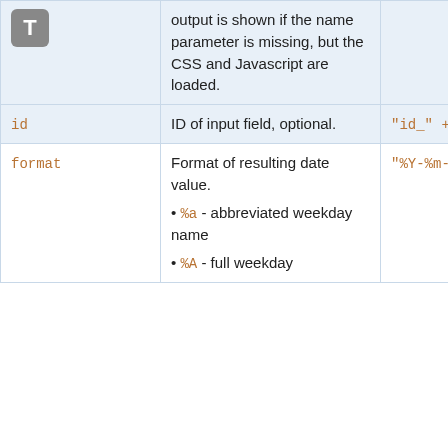| Parameter | Description | Default | Example |
| --- | --- | --- | --- |
| [icon T] | output is shown if the name parameter is missing, but the CSS and Javascript are loaded. |  |  |
| id | ID of input field, optional. | "id_" + name | id="idStart |
| format | Format of resulting date value.
• %a - abbreviated weekday name
• %A - full weekday | "%Y-%m-%d" | format="%e |